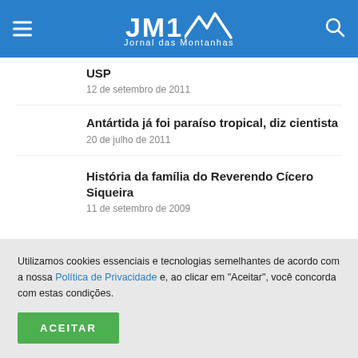JM1 Jornal das Montanhas
USP
12 de setembro de 2011
Antártida já foi paraíso tropical, diz cientista
20 de julho de 2011
História da família do Reverendo Cícero Siqueira
11 de setembro de 2009
Utilizamos cookies essenciais e tecnologias semelhantes de acordo com a nossa Política de Privacidade e, ao clicar em "Aceitar", você concorda com estas condições.
ACEITAR